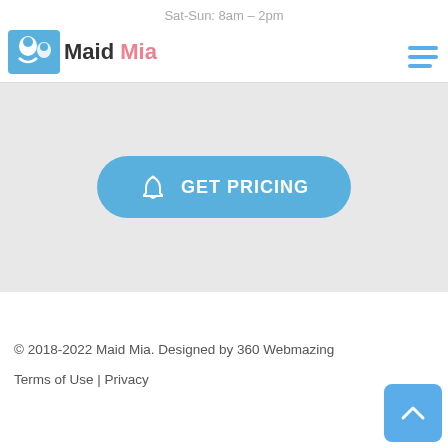Sat-Sun: 8am – 2pm
[Figure (logo): Maid Mia logo with teal/blue icon and brand name]
[Figure (other): Hamburger menu icon (three horizontal blue lines)]
[Figure (other): Blue rounded button with bell icon and text GET PRICING]
© 2018-2022 Maid Mia. Designed by 360 Webmazing
Terms of Use | Privacy